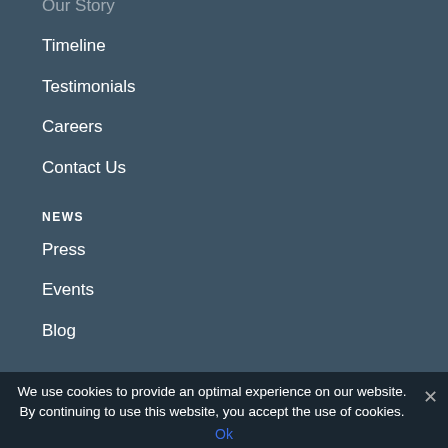Our Story
Timeline
Testimonials
Careers
Contact Us
NEWS
Press
Events
Blog
SUPPORT
Resources
Warranty
Financing
Distributor Finder
Reseller Portal
We use cookies to provide an optimal experience on our website. By continuing to use this website, you accept the use of cookies.
Ok